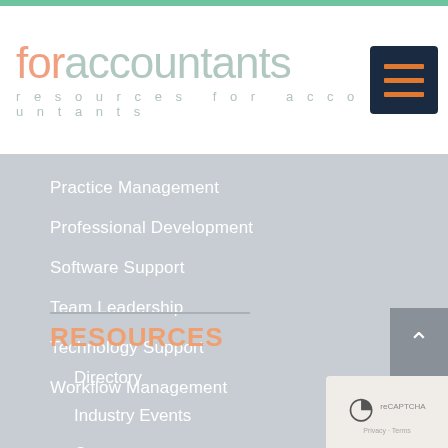foraccountants — resources for accountants
Practice Management
Professional Development
Software Support
Team Leadership
Technology Support
Workflow Management
RESOURCES
Directory
Industry Events
Courses